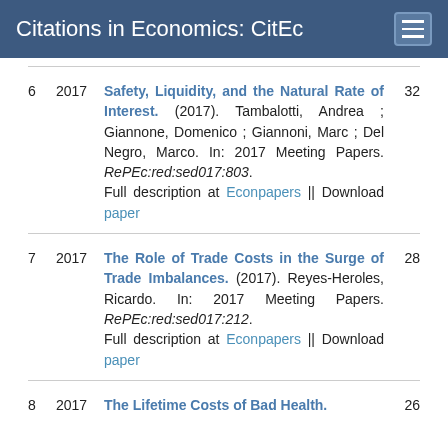Citations in Economics: CitEc
6  2017  Safety, Liquidity, and the Natural Rate of Interest. (2017). Tambalotti, Andrea ; Giannone, Domenico ; Giannoni, Marc ; Del Negro, Marco. In: 2017 Meeting Papers. RePEc:red:sed017:803. Full description at Econpapers || Download paper  32
7  2017  The Role of Trade Costs in the Surge of Trade Imbalances. (2017). Reyes-Heroles, Ricardo. In: 2017 Meeting Papers. RePEc:red:sed017:212. Full description at Econpapers || Download paper  28
8  2017  The Lifetime Costs of Bad Health.  26